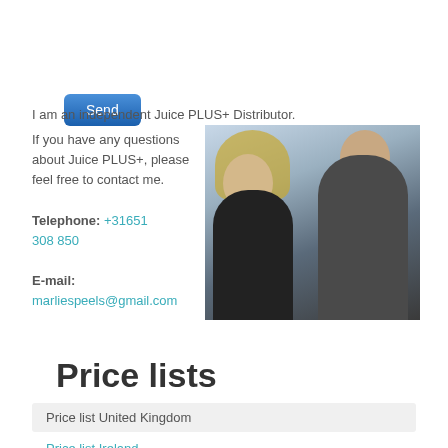Send
I am an independent Juice PLUS+ Distributor.
If you have any questions about Juice PLUS+, please feel free to contact me.

Telephone: +31651 308 850

E-mail:
marliespeels@gmail.com
[Figure (photo): Two people posing together indoors — a tall bald man in a dark jacket and a shorter woman with long blonde hair smiling.]
Price lists
Price list United Kingdom
Price list Ireland